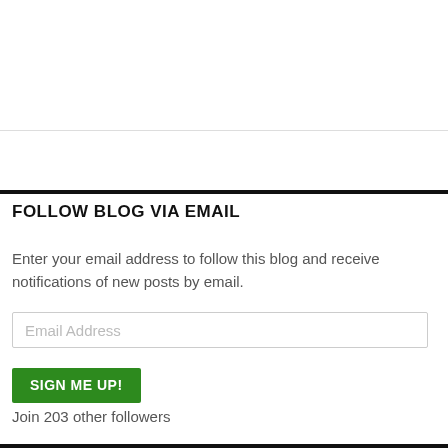FOLLOW BLOG VIA EMAIL
Enter your email address to follow this blog and receive notifications of new posts by email.
Join 203 other followers